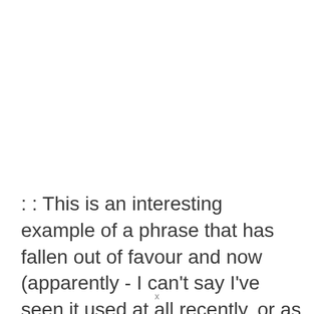: : This is an interesting example of a phrase that has fallen out of favour and now (apparently - I can't say I've seen it used at all recently, or as Cynthia has used it)
x